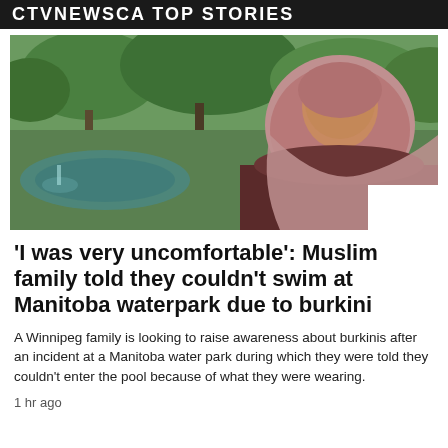CTVNEWSCA TOP STORIES
[Figure (photo): A woman wearing a pink/mauve hijab standing outdoors in front of a park with trees and a pond visible in the background.]
'I was very uncomfortable': Muslim family told they couldn't swim at Manitoba waterpark due to burkini
A Winnipeg family is looking to raise awareness about burkinis after an incident at a Manitoba water park during which they were told they couldn't enter the pool because of what they were wearing.
1 hr ago